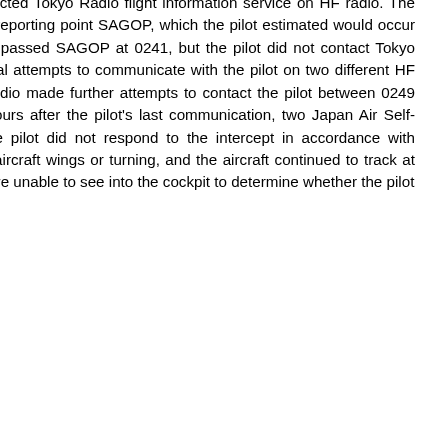while overhead reporting point TEGOD, the pilot contacted Tokyo Radio flight information service on HF radio. The pilot was next due to report when the aircraft reached reporting point SAGOP, which the pilot estimated would occur at 0244. GPS recorded track showed that the aircraft passed SAGOP at 0241, but the pilot did not contact Tokyo Radio as expected. At 0249, Tokyo Radio made several attempts to communicate with the pilot on two different HF frequencies, but did not receive a response. Tokyo Radio made further attempts to contact the pilot between 0249 and 0251, and at 0341, 0351 and 0405. About 4.5 hours after the pilot's last communication, two Japan Air Self-Defense Force (JASDF) aircraft intercepted FAY. The pilot did not respond to the intercept in accordance with international intercept protocols, either by rocking the aircraft wings or turning, and the aircraft continued to track at FL 220 on its planned flight route. The JASDF pilots were unable to see into the cockpit to determine whether the pilot